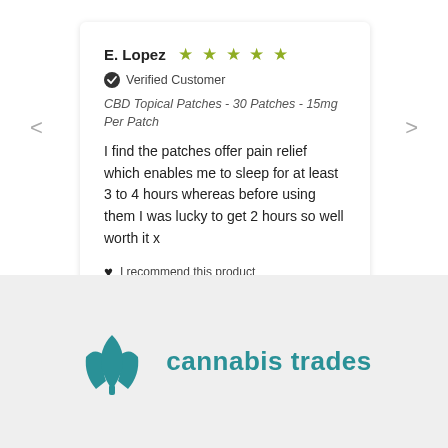E. Lopez ★★★★★
✔ Verified Customer
CBD Topical Patches - 30 Patches - 15mg Per Patch
I find the patches offer pain relief which enables me to sleep for at least 3 to 4 hours whereas before using them I was lucky to get 2 hours so well worth it x
♥ I recommend this product
Chester, United Kingdom, 1 week ago
[Figure (logo): Cannabis trades logo with teal leaf/plant icon and text 'cannabis trades' in teal]